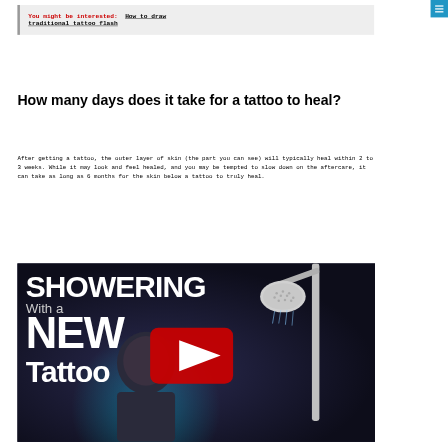You might be interested: How to draw traditional tattoo flash
How many days does it take for a tattoo to heal?
After getting a tattoo, the outer layer of skin (the part you can see) will typically heal within 2 to 3 weeks. While it may look and feel healed, and you may be tempted to slow down on the aftercare, it can take as long as 6 months for the skin below a tattoo to truly heal.
[Figure (screenshot): YouTube video thumbnail showing a person with text 'SHOWERING with a NEW Tattoo' and a shower head, with a YouTube play button overlay]